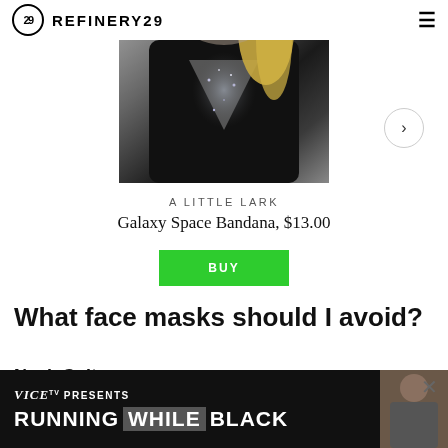REFINERY29
[Figure (photo): Product photo of a black Galaxy Space Bandana worn around neck/shoulders with blonde hair visible, on dark background]
A LITTLE LARK
Galaxy Space Bandana, $13.00
BUY
What face masks should I avoid?
Neck Gaiters
They may have become hugely popular within the running
[Figure (screenshot): VICE TV advertisement overlay: 'VICE TV PRESENTS RUNNING WHILE BLACK' with person in background]